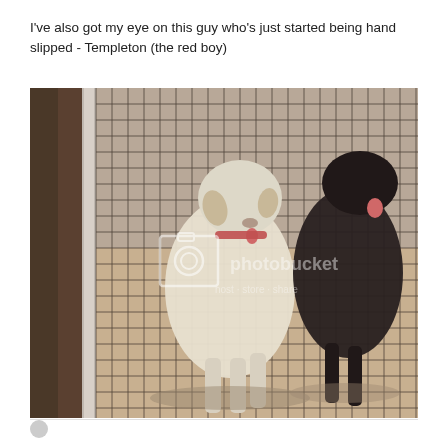I've also got my eye on this guy who's just started being hand slipped - Templeton (the red boy)
[Figure (photo): Two greyhound-type dogs standing behind a wire mesh fence/gate in an outdoor kennel area with sandy ground. One dog is white/cream colored facing the camera, the other is black standing sideways. A Photobucket watermark is visible in the center of the image.]